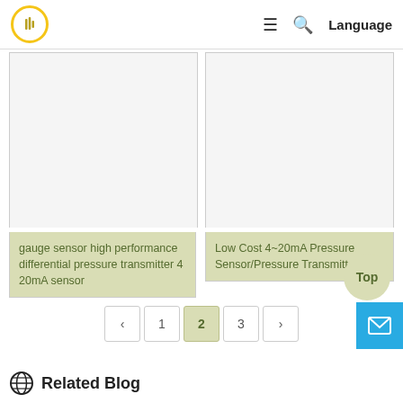Logo | ≡ 🔍 Language
[Figure (screenshot): Product card - gauge sensor high performance differential pressure transmitter 4 20mA sensor, with light gray image area above and olive/tan caption below]
gauge sensor high performance differential pressure transmitter 4 20mA sensor
[Figure (screenshot): Product card - Low Cost 4~20mA Pressure Sensor/Pressure Transmitter, with light gray image area above and olive/tan caption below]
Low Cost 4~20mA Pressure Sensor/Pressure Transmitter
‹  1  2  3  ›
Top
Related Blog